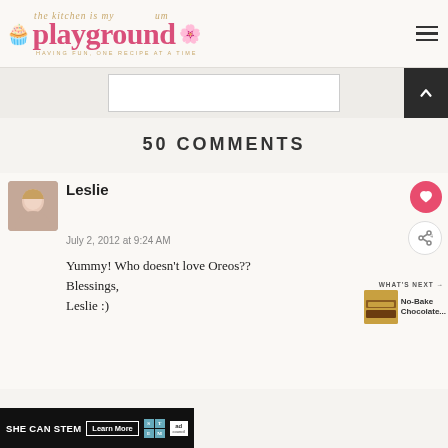the Kitchen is my Playground — playground — HAVING FUN, ONE RECIPE AT A TIME
50 COMMENTS
Leslie
July 2, 2012 at 9:24 AM
Yummy! Who doesn't love Oreos??
Blessings,
Leslie :)
[Figure (screenshot): SHE CAN STEM advertisement banner with Learn More button, ad council logo]
[Figure (screenshot): What's Next callout showing No-Bake Chocolate... with food thumbnail]